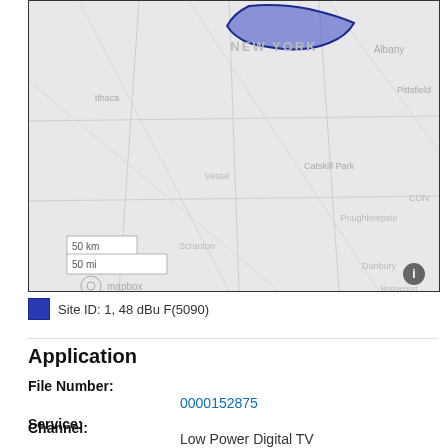[Figure (map): Map showing New York state and surrounding region with a blue shaded coverage area near the top center. Place names visible include NEW YORK, Albany, Pittsfield, Ithaca, Vestal, Catskill Park, Poughkeepsie, Scranton, Danbury, Bridgeport. Scale bar shows 50 km and 50 mi. Mapbox logo visible in lower left. Info icon in lower right.]
Site ID: 1, 48 dBu F(5090)
Application
File Number:
0000152875
Service:
Low Power Digital TV
Channel:
11